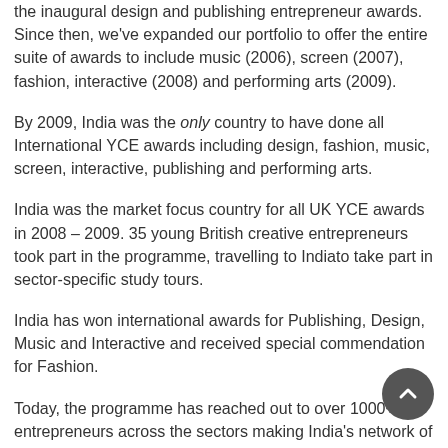the inaugural design and publishing entrepreneur awards. Since then, we've expanded our portfolio to offer the entire suite of awards to include music (2006), screen (2007), fashion, interactive (2008) and performing arts (2009).
By 2009, India was the only country to have done all International YCE awards including design, fashion, music, screen, interactive, publishing and performing arts.
India was the market focus country for all UK YCE awards in 2008 – 2009. 35 young British creative entrepreneurs took part in the programme, travelling to Indiato take part in sector-specific study tours.
India has won international awards for Publishing, Design, Music and Interactive and received special commendation for Fashion.
Today, the programme has reached out to over 1000+ entrepreneurs across the sectors making India's network of